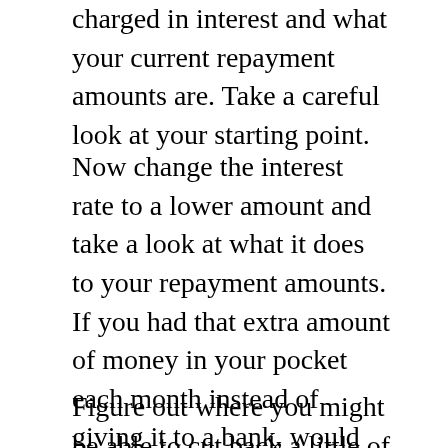charged in interest and what your current repayment amounts are. Take a careful look at your starting point.
Now change the interest rate to a lower amount and take a look at what it does to your repayment amounts. If you had that extra amount of money in your pocket each month instead of giving it to a bank, would that make life easier? What if you put that extra money back towards your debt reduction plan as extra payments? Take a look at what happens to your debt levels if you increase the amount of extra repayments you make.
Figure out where you might be able to cut back a little of your current spending and add those